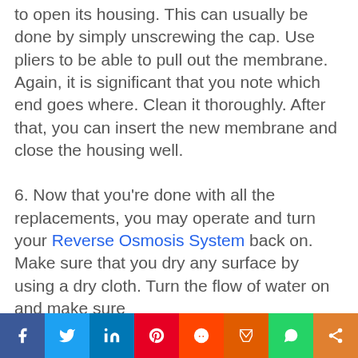to open its housing. This can usually be done by simply unscrewing the cap. Use pliers to be able to pull out the membrane. Again, it is significant that you note which end goes where. Clean it thoroughly. After that, you can insert the new membrane and close the housing well.
6. Now that you're done with all the replacements, you may operate and turn your Reverse Osmosis System back on. Make sure that you dry any surface by using a dry cloth. Turn the flow of water on and make sure
Social share bar: Facebook, Twitter, LinkedIn, Pinterest, Reddit, Mix, WhatsApp, Share